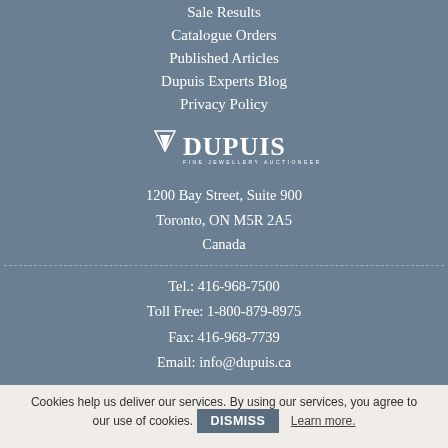Sale Results
Catalogue Orders
Published Articles
Dupuis Experts Blog
Privacy Policy
[Figure (logo): Dupuis Fine Jewellery Auctioneers logo — white triangle/gem icon with DUPUIS wordmark and 'FINE JEWELLERY AUCTIONEERS' subtitle]
1200 Bay Street, Suite 900
Toronto, ON M5R 2A5
Canada
Tel.: 416-968-7500
Toll Free: 1-800-879-8975
Fax: 416-968-7739
Email: info@dupuis.ca
Cookies help us deliver our services. By using our services, you agree to our use of cookies. DISMISS Learn more.